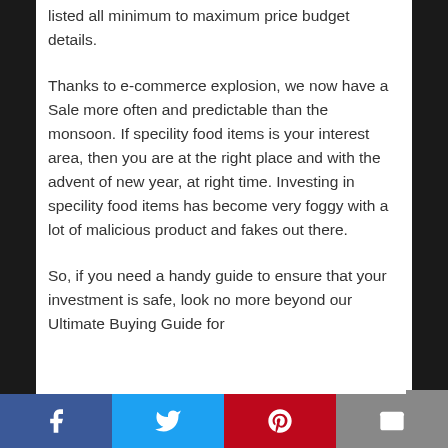listed all minimum to maximum price budget details.
Thanks to e-commerce explosion, we now have a Sale more often and predictable than the monsoon. If specility food items is your interest area, then you are at the right place and with the advent of new year, at right time. Investing in specility food items has become very foggy with a lot of malicious product and fakes out there.
So, if you need a handy guide to ensure that your investment is safe, look no more beyond our Ultimate Buying Guide for
Facebook | Twitter | Pinterest | Email